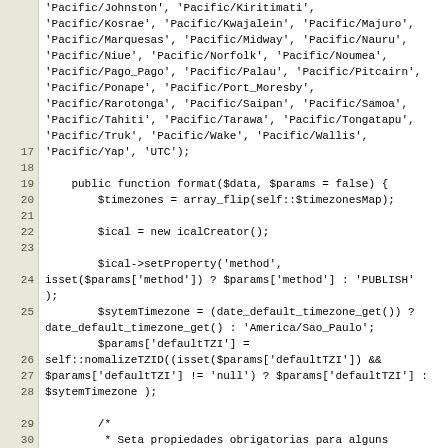Code listing showing PHP function format() with timezone and iCal setup code, lines 17-32